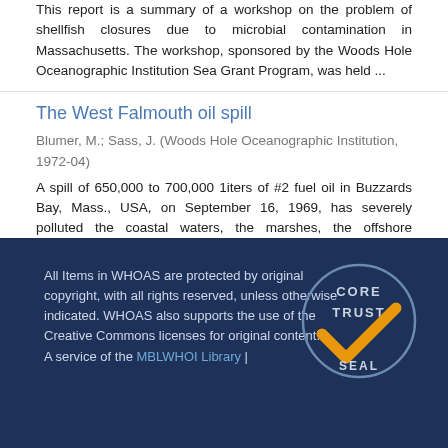This report is a summary of a workshop on the problem of shellfish closures due to microbial contamination in Massachusetts. The workshop, sponsored by the Woods Hole Oceanographic Institution Sea Grant Program, was held ...
The West Falmouth oil spill
Blumer, M.; Sass, J. (Woods Hole Oceanographic Institution, 1972-04)
A spill of 650,000 to 700,000 1iters of #2 fuel oil in Buzzards Bay, Mass., USA, on September 16, 1969, has severely polluted the coastal waters, the marshes, the offshore sediments and the shell fish resources of Falmouth ...
All Items in WHOAS are protected by original copyright, with all rights reserved, unless otherwise indicated. WHOAS also supports the use of the Creative Commons licenses for original content. A service of the MBLWHOI Library |